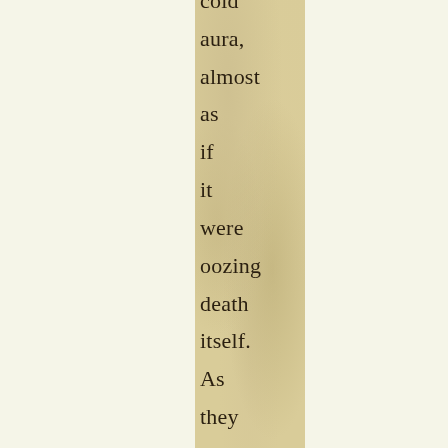cold aura, almost as if it were oozing death itself. As they looked for clues, they came across a book that had a strange an